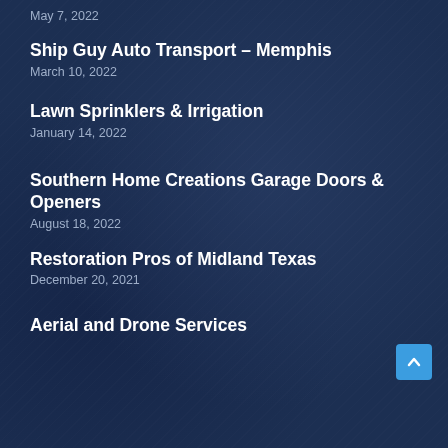May 7, 2022
Ship Guy Auto Transport – Memphis
March 10, 2022
Lawn Sprinklers & Irrigation
January 14, 2022
Southern Home Creations Garage Doors & Openers
August 18, 2022
Restoration Pros of Midland Texas
December 20, 2021
Aerial and Drone Services